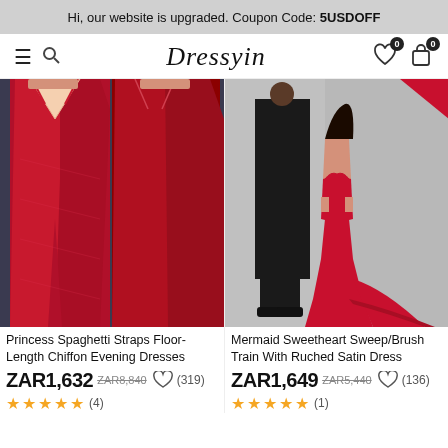Hi, our website is upgraded. Coupon Code: 5USDOFF
[Figure (logo): Dressyin website navigation bar with hamburger menu, search icon, Dressyin logo, heart icon with badge 0, shopping bag icon with badge 0]
[Figure (photo): Two views of a red chiffon floor-length prom dress with spaghetti straps and deep V-neckline, front and back views]
Princess Spaghetti Straps Floor-Length Chiffon Evening Dresses
ZAR1,632 ZAR8,840 (319)
★★★★★ (4)
[Figure (photo): Red mermaid sweetheart strapless dress with sweep/brush train and cutout sides, worn by a woman posing next to a man in black suit]
Mermaid Sweetheart Sweep/Brush Train With Ruched Satin Dress
ZAR1,649 ZAR5,440 (136)
★★★★★ (1)